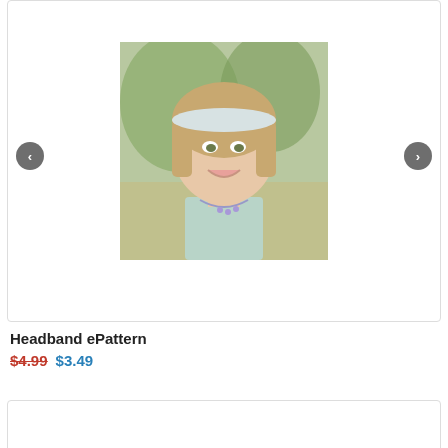[Figure (photo): Photo of a smiling young woman wearing a white headband, light blue top, and floral necklace, photographed outdoors with navigation arrows on either side]
Headband ePattern
$4.99 $3.49
[Figure (photo): Close-up photo of a small embroidered heart patch on fabric against an orange/red background]